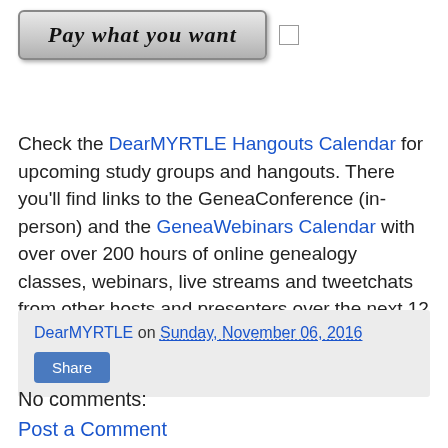[Figure (screenshot): Button styled as 'Pay what you want' with a decorative medieval-style font, gray gradient background, and a small checkbox to its right.]
Check the DearMYRTLE Hangouts Calendar for upcoming study groups and hangouts. There you'll find links to the GeneaConference (in-person) and the GeneaWebinars Calendar with over over 200 hours of online genealogy classes, webinars, live streams and tweetchats from other hosts and presenters over the next 12 months.
DearMYRTLE on Sunday, November 06, 2016
Share
No comments:
Post a Comment